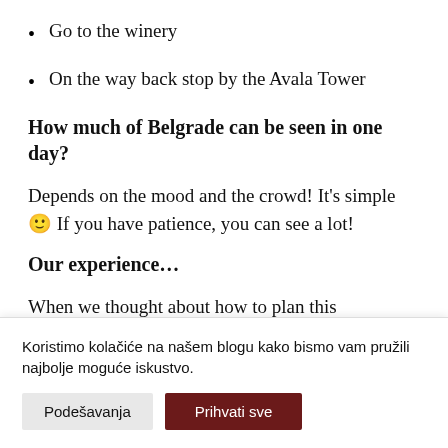Go to the winery
On the way back stop by the Avala Tower
How much of Belgrade can be seen in one day?
Depends on the mood and the crowd! It's simple 🙂 If you have patience, you can see a lot!
Our experience…
When we thought about how to plan this weekend…
Koristimo kolačiće na našem blogu kako bismo vam pružili najbolje moguće iskustvo.
Podešavanja
Prihvati sve